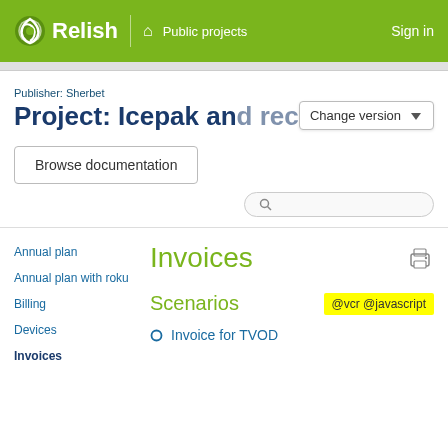Relish  Home  Public projects  Sign in
Publisher: Sherbet
Project: Icepak and receipt_pro...
Change version
Browse documentation
Annual plan
Annual plan with roku
Billing
Devices
Invoices
Invoices
Scenarios
@vcr @javascript
Invoice for TVOD